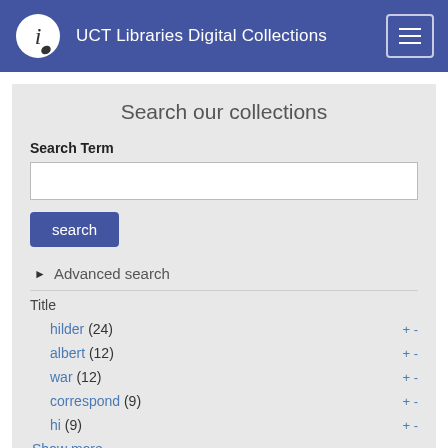UCT Libraries Digital Collections
Search our collections
Search Term
search
Advanced search
Title
hilder (24)
albert (12)
war (12)
correspond (9)
hi (9)
Show more